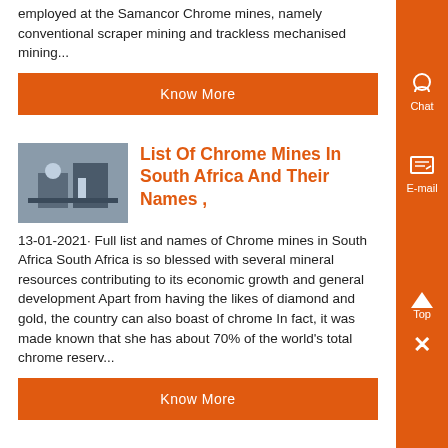employed at the Samancor Chrome mines, namely conventional scraper mining and trackless mechanised mining...
Know More
[Figure (photo): Photo of mining workers/equipment at a chrome mine facility]
List Of Chrome Mines In South Africa And Their Names ,
13-01-2021· Full list and names of Chrome mines in South Africa South Africa is so blessed with several mineral resources contributing to its economic growth and general development Apart from having the likes of diamond and gold, the country can also boast of chrome In fact, it was made known that she has about 70% of the world's total chrome reserv...
Know More
[Figure (photo): Photo of mining workers/equipment at a chrome processing facility]
chrome beneficiation methods cgm mining application
Chrome Ore Tailings Beneficiation - Henan Mining Machinery , Chrome Ore Tailings Beneficiation Prompt : Caesar is a famous mining equipment manufacturer well-known that...